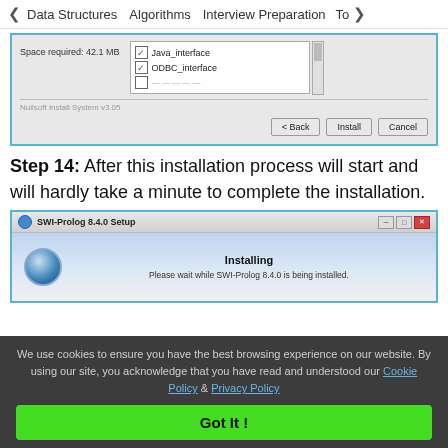< Data Structures   Algorithms   Interview Preparation   To>
[Figure (screenshot): Windows installer dialog showing Space required: 42.1 MB, checkboxes for Java_interface and ODBC_interface, Nullsoft Install System v3.05 label, and Back, Install, Cancel buttons]
Step 14: After this installation process will start and will hardly take a minute to complete the installation.
[Figure (screenshot): SWI-Prolog 8.4.0 Setup dialog showing 'Installing' progress with text 'Please wait while SWI-Prolog 8.4.0 is being installed.' and a globe/CD icon]
We use cookies to ensure you have the best browsing experience on our website. By using our site, you acknowledge that you have read and understood our Cookie Policy & Privacy Policy
Got It !